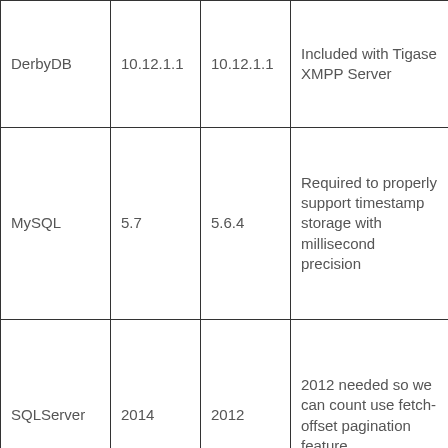|  |  |  |  |
| --- | --- | --- | --- |
| DerbyDB | 10.12.1.1 | 10.12.1.1 | Included with Tigase XMPP Server |
| MySQL | 5.7 | 5.6.4 | Required to properly support timestamp storage with millisecond precision |
| SQLServer | 2014 | 2012 | 2012 needed so we can count use fetch-offset pagination feature. |
|  |  |  | New UA ... |